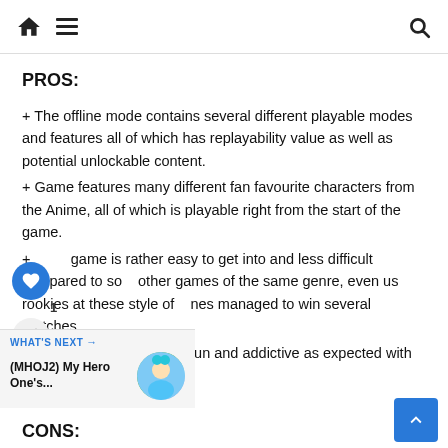Home | Menu | Search
PROS:
+ The offline mode contains several different playable modes and features all of which has replayability value as well as potential unlockable content.
+ Game features many different fan favourite characters from the Anime, all of which is playable right from the start of the game.
+ The game is rather easy to get into and less difficult compared to some other games of the same genre, even us rookies at these style of games managed to win several matches.
+ The online mode is rather fun and addictive as expected with very few issues.
CONS: